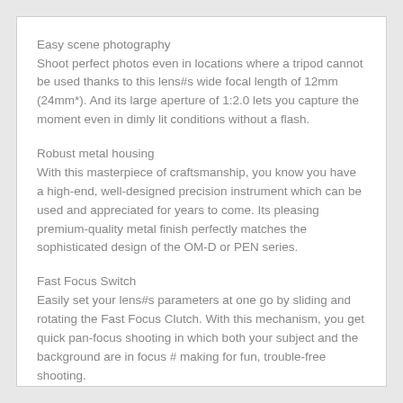Easy scene photography
Shoot perfect photos even in locations where a tripod cannot be used thanks to this lens#s wide focal length of 12mm (24mm*). And its large aperture of 1:2.0 lets you capture the moment even in dimly lit conditions without a flash.
Robust metal housing
With this masterpiece of craftsmanship, you know you have a high-end, well-designed precision instrument which can be used and appreciated for years to come. Its pleasing premium-quality metal finish perfectly matches the sophisticated design of the OM-D or PEN series.
Fast Focus Switch
Easily set your lens#s parameters at one go by sliding and rotating the Fast Focus Clutch. With this mechanism, you get quick pan-focus shooting in which both your subject and the background are in focus # making for fun, trouble-free shooting.